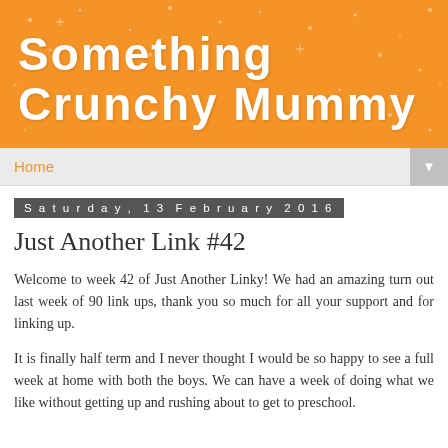Something Crunchy Mummy
Home
Saturday, 13 February 2016
Just Another Link #42
Welcome to week 42 of Just Another Linky! We had an amazing turn out last week of 90 link ups, thank you so much for all your support and for linking up.
It is finally half term and I never thought I would be so happy to see a full week at home with both the boys. We can have a week of doing what we like without getting up and rushing about to get to preschool.